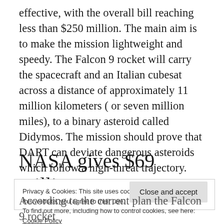effective, with the overall bill reaching less than $250 million. The main aim is to make the mission lightweight and speedy. The Falcon 9 rocket will carry the spacecraft and an Italian cubesat across a distance of approximately 11 million kilometers ( or seven million miles), to a binary asteroid called Didymos. The mission should prove that DART can deviate dangerous asteroids which follow a high-threat trajectory.
NASA gives $69 million to
Privacy & Cookies: This site uses cookies. By continuing to use this website, you agree to their use.
To find out more, including how to control cookies, see here: Cookie Policy
According to the current plan the Falcon 9 rocket